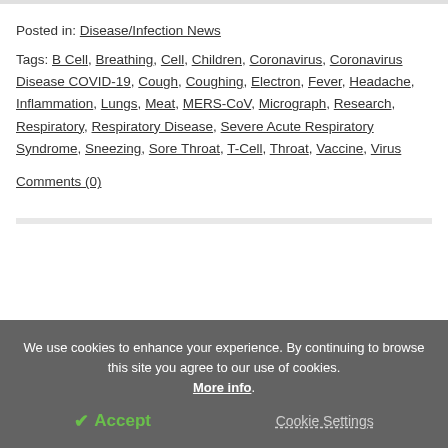Posted in: Disease/Infection News
Tags: B Cell, Breathing, Cell, Children, Coronavirus, Coronavirus Disease COVID-19, Cough, Coughing, Electron, Fever, Headache, Inflammation, Lungs, Meat, MERS-CoV, Micrograph, Research, Respiratory, Respiratory Disease, Severe Acute Respiratory Syndrome, Sneezing, Sore Throat, T-Cell, Throat, Vaccine, Virus
Comments (0)
We use cookies to enhance your experience. By continuing to browse this site you agree to our use of cookies. More info.
✓ Accept
Cookie Settings